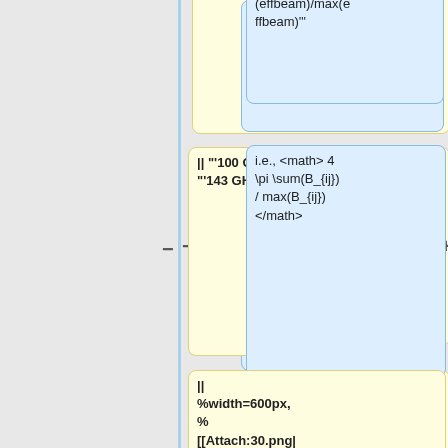[Figure (flowchart): Diff/edit view showing yellow code boxes on the left and blue explanation boxes on the right, connected with minus and plus symbols. Top yellow box is partially cut off. Second yellow box contains '|| "100 GHz" || || "143 GHz" ||'. Third yellow box contains '|| %width=600px, % [[Attach:30.png|Attach:30.png]] || || %width=600px, % [[Attach:100.png|Attach:100.png]] ||'. Right blue boxes contain mathematical expressions. Bottom row shows empty grey boxes.]